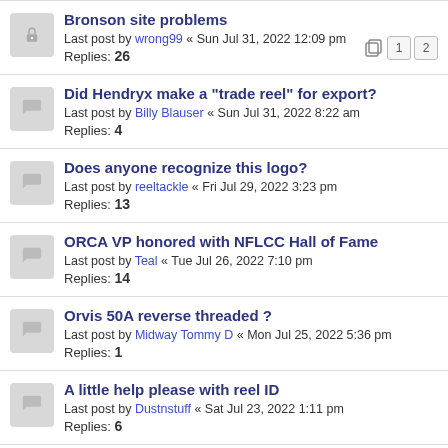Bronson site problems
Last post by wrong99 « Sun Jul 31, 2022 12:09 pm
Replies: 26
Did Hendryx make a "trade reel" for export?
Last post by Billy Blauser « Sun Jul 31, 2022 8:22 am
Replies: 4
Does anyone recognize this logo?
Last post by reeltackle « Fri Jul 29, 2022 3:23 pm
Replies: 13
ORCA VP honored with NFLCC Hall of Fame
Last post by Teal « Tue Jul 26, 2022 7:10 pm
Replies: 14
Orvis 50A reverse threaded ?
Last post by Midway Tommy D « Mon Jul 25, 2022 5:36 pm
Replies: 1
A little help please with reel ID
Last post by Dustnstuff « Sat Jul 23, 2022 1:11 pm
Replies: 6